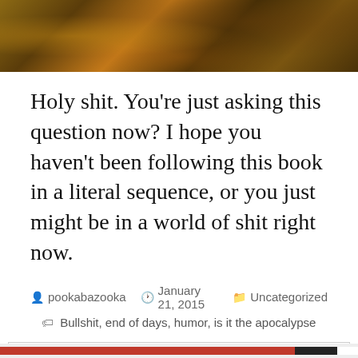[Figure (illustration): Dark fantasy/horror illustration with figures in orange and brown tones, partial view at top of page]
Holy shit. You’re just asking this question now? I hope you haven’t been following this book in a literal sequence, or you just might be in a world of shit right now.
pookabazooka  January 21, 2015  Uncategorized  Bullshit, end of days, humor, is it the apocalypse
Privacy & Cookies: This site uses cookies. By continuing to use this website, you agree to their use.
To find out more, including how to control cookies, see here: Cookie Policy
Close and accept